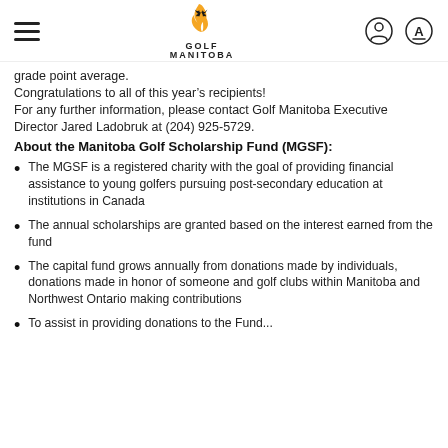Golf Manitoba
grade point average.
Congratulations to all of this year's recipients!
For any further information, please contact Golf Manitoba Executive Director Jared Ladobruk at (204) 925-5729.
About the Manitoba Golf Scholarship Fund (MGSF):
The MGSF is a registered charity with the goal of providing financial assistance to young golfers pursuing post-secondary education at institutions in Canada
The annual scholarships are granted based on the interest earned from the fund
The capital fund grows annually from donations made by individuals, donations made in honor of someone and golf clubs within Manitoba and Northwest Ontario making contributions
To assist in providing donations to the Fund...